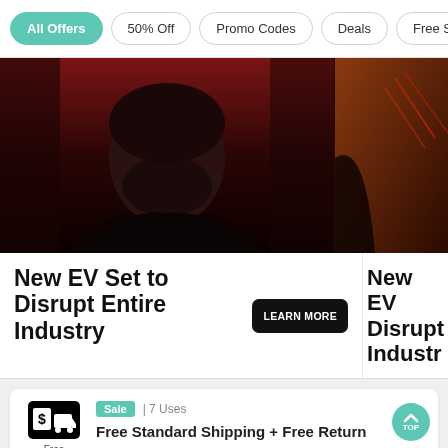All Offers | 50% Off | Promo Codes | Deals | Free Shipping
[Figure (photo): Man with a beard in a black shirt against a red dramatic background. Partial second image visible on the right.]
New EV Set to Disrupt Entire Industry
LEARN MORE
New EV Disrupt Industry
Sale  7 Uses
Free Standard Shipping + Free Return
Free Shipping